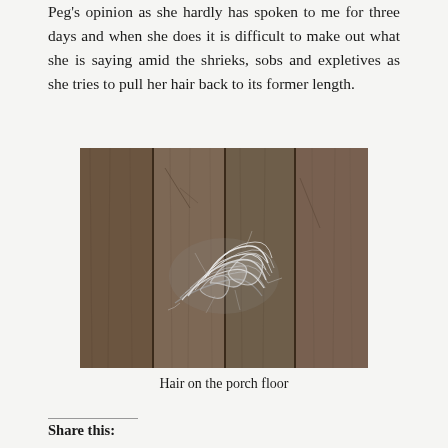Peg's opinion as she hardly has spoken to me for three days and when she does it is difficult to make out what she is saying amid the shrieks, sobs and expletives as she tries to pull her hair back to its former length.
[Figure (photo): A clump of white/grey hair lying on weathered wooden porch floorboards.]
Hair on the porch floor
Share this: